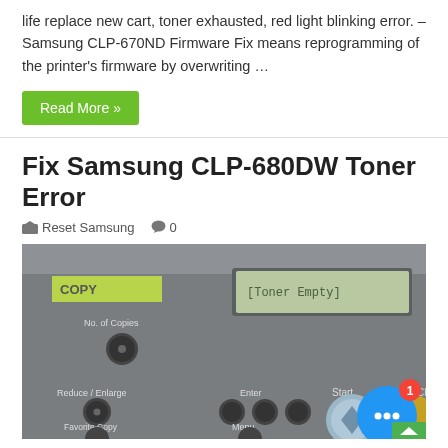life replace new cart, toner exhausted, red light blinking error. – Samsung CLP-670ND Firmware Fix means reprogramming of the printer's firmware by overwriting …
Read More »
Fix Samsung CLP-680DW Toner Error
Reset Samsung   0
[Figure (photo): Close-up photo of Samsung CLP-680DW printer control panel showing 'Toner Empty' error on LCD display, with buttons for No. of Copies, Reduce/Enlarge, Favorite Copy, Enter, Menu, Start, and Stop/Clear. A blue chat bubble with red badge showing '1' is overlaid in lower right, and a green scroll-to-top button is visible.]
Samsung CLP-680DW Firmware Fix Overview – Fix Samsung CLP-